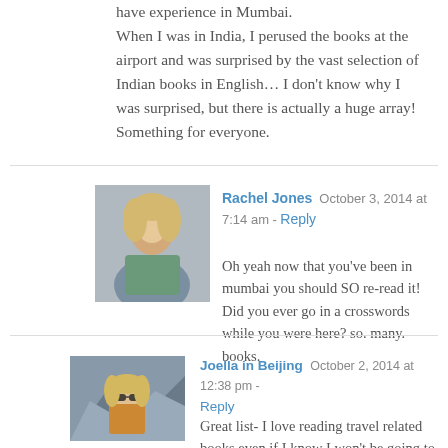have experience in Mumbai.
When I was in India, I perused the books at the airport and was surprised by the vast selection of Indian books in English... I don't know why I was surprised, but there is actually a huge array! Something for everyone.
Rachel Jones  October 3, 2014 at 7:14 am - Reply
[Figure (photo): Profile photo of Rachel Jones, a blonde woman]
Oh yeah now that you've been in mumbai you should SO re-read it! Did you ever go in a crosswords while you were here? so. many. books.
Joella in Beijing  October 2, 2014 at 12:38 pm - Reply
[Figure (photo): Profile photo of Joella in Beijing, a woman with sunglasses outdoors]
Great list- I love reading travel related books even if I know I won't be going to that country anytime soon. A couple of people